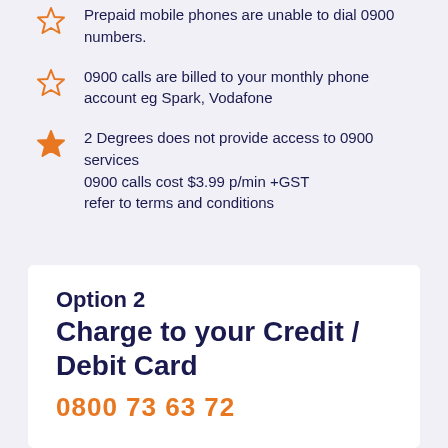Prepaid mobile phones are unable to dial 0900 numbers.
0900 calls are billed to your monthly phone account eg Spark, Vodafone
2 Degrees does not provide access to 0900 services
0900 calls cost $3.99 p/min +GST
refer to terms and conditions
Option 2
Charge to your Credit / Debit Card
0800 73 63 72